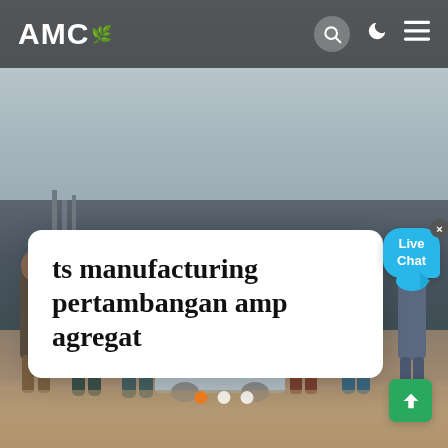AMC
[Figure (photo): Construction/mining site with workers standing in front of industrial equipment on sandy ground, industrial structures visible in background, overcast sky]
ts manufacturing pertambangan amp agregat
[Figure (other): Live Chat speech bubble widget in blue with close button (x)]